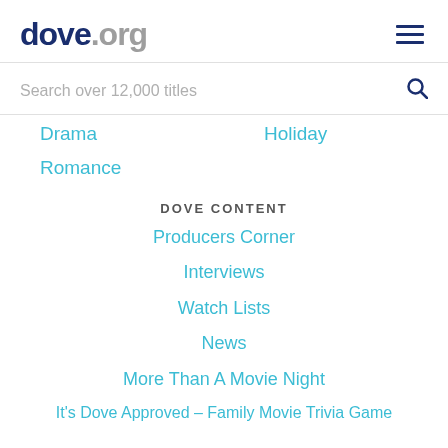dove.org
Search over 12,000 titles
Drama
Holiday
Romance
DOVE CONTENT
Producers Corner
Interviews
Watch Lists
News
More Than A Movie Night
It's Dove Approved – Family Movie Trivia Game
ABOUT DOVE